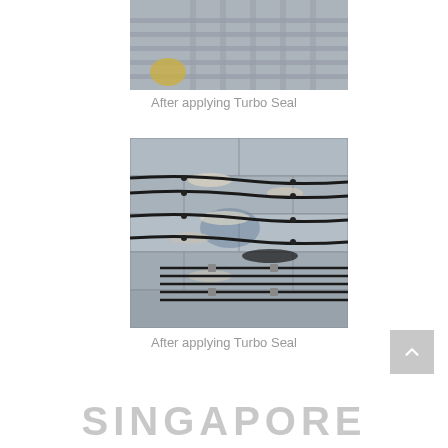[Figure (photo): Construction site photo showing concrete wall with metal rebar reinforcing bars visible, viewed from close angle, after applying Turbo Seal - top cropped image]
After applying Turbo Seal
[Figure (photo): Construction site photo showing concrete wall surface with multiple black cables/wires running horizontally across rough textured concrete blocks, after applying Turbo Seal - bottom image]
After applying Turbo Seal
SINGAPORE